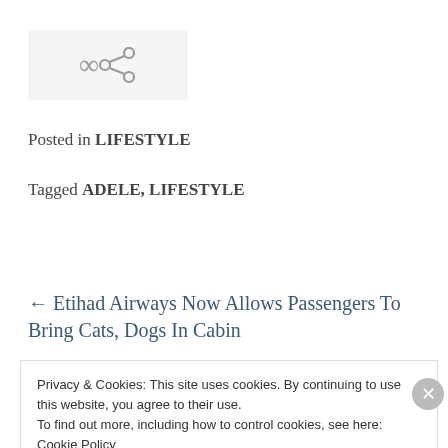[Figure (other): Share/link icon in a light gray box]
Posted in LIFESTYLE
Tagged ADELE, LIFESTYLE
← Etihad Airways Now Allows Passengers To Bring Cats, Dogs In Cabin
Privacy & Cookies: This site uses cookies. By continuing to use this website, you agree to their use.
To find out more, including how to control cookies, see here: Cookie Policy
Close and accept